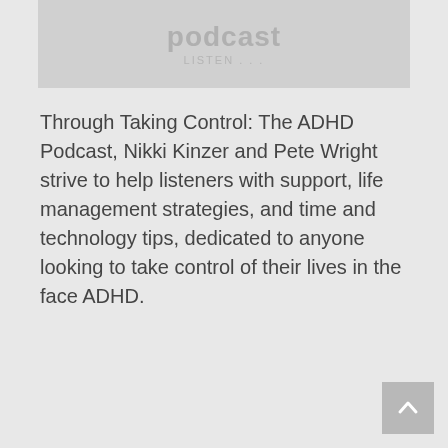[Figure (other): Podcast logo banner with text 'podcast' and subtitle text, displayed on a light gray background]
Through Taking Control: The ADHD Podcast, Nikki Kinzer and Pete Wright strive to help listeners with support, life management strategies, and time and technology tips, dedicated to anyone looking to take control of their lives in the face ADHD.